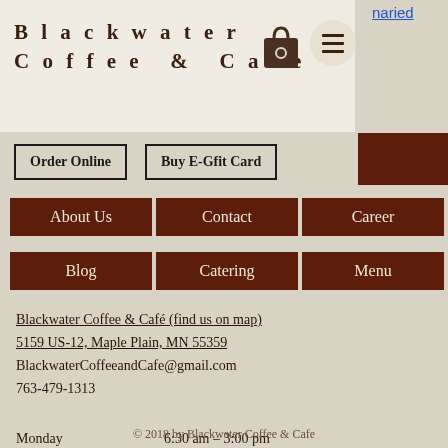naried
Blackwater Coffee & Cafe
Order Online
Buy E-Gfit Card
About Us
Contact
Career
Blog
Catering
Menu
Blackwater Coffee & Café (find us on map)
5159 US-12, Maple Plain, MN 55359
BlackwaterCoffeeandCafe@gmail.com
763-479-1313
Monday        6:30 am – 3:00 pm
Tuesday-Friday   6:30 am – 7:00 pm
Saturday/Sunday  7:30 am – 3:00 pm
© 2018 by Blackwater Coffee & Cafe